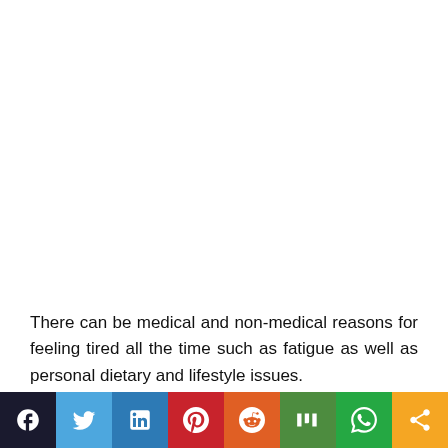There can be medical and non-medical reasons for feeling tired all the time such as fatigue as well as personal dietary and lifestyle issues.
[Figure (infographic): Social media share bar with icons for Facebook, Twitter, LinkedIn, Pinterest, Reddit, Mix, WhatsApp, and a generic share button]